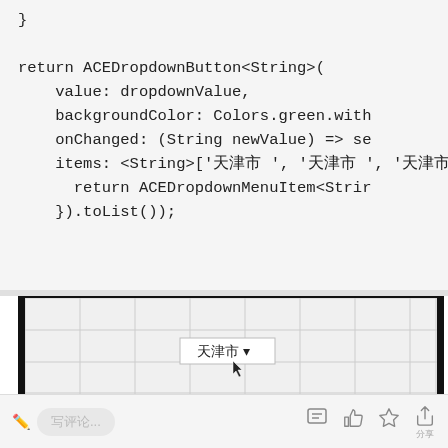}

return ACEDropdownButton<String>(
    value: dropdownValue,
    backgroundColor: Colors.green.with
    onChanged: (String newValue) => se
    items: <String>['天津市', '天津市', '天津
      return ACEDropdownMenuItem<Strin
    }).toList());
[Figure (screenshot): A screenshot of a Flutter app showing a grid/table widget with a dropdown button labeled '天津市' with a dropdown arrow, and a cursor pointer visible. The widget has thick black left and right borders.]
[Figure (screenshot): Bottom toolbar with pencil icon, placeholder text field showing CJK characters, and action icons (comment, like, star, share) on the right.]